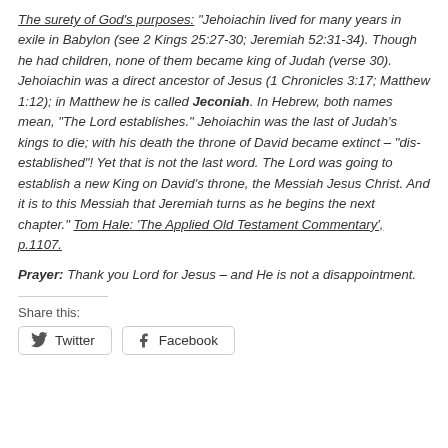The surety of God's purposes: "Jehoiachin lived for many years in exile in Babylon (see 2 Kings 25:27-30; Jeremiah 52:31-34). Though he had children, none of them became king of Judah (verse 30). Jehoiachin was a direct ancestor of Jesus (1 Chronicles 3:17; Matthew 1:12); in Matthew he is called Jeconiah. In Hebrew, both names mean, "The Lord establishes." Jehoiachin was the last of Judah's kings to die; with his death the throne of David became extinct – "dis-established"! Yet that is not the last word. The Lord was going to establish a new King on David's throne, the Messiah Jesus Christ. And it is to this Messiah that Jeremiah turns as he begins the next chapter." Tom Hale: 'The Applied Old Testament Commentary', p.1107.
Prayer: Thank you Lord for Jesus – and He is not a disappointment.
Share this:
[Figure (other): Two share buttons: Twitter and Facebook]